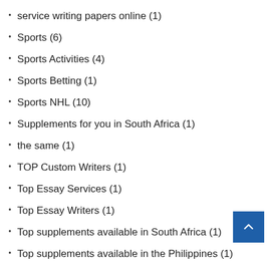service writing papers online (1)
Sports (6)
Sports Activities (4)
Sports Betting (1)
Sports NHL (10)
Supplements for you in South Africa (1)
the same (1)
TOP Custom Writers (1)
Top Essay Services (1)
Top Essay Writers (1)
Top supplements available in South Africa (1)
Top supplements available in the Philippines (1)
type my essay cheap (1)